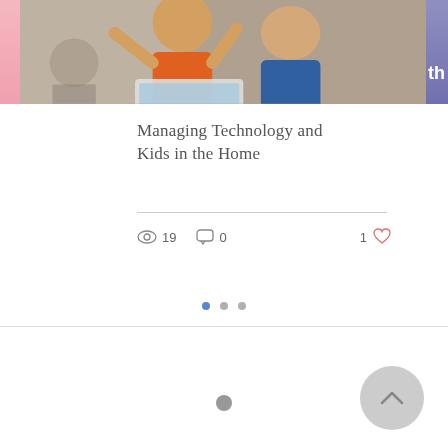[Figure (photo): Two boys looking at a laptop screen with excited expressions; one wears an orange shirt and has hands on his head, another wears a blue shirt and is laughing. Background shows an office or classroom setting.]
Managing Technology and Kids in the Home
19 views  0 comments  1 like